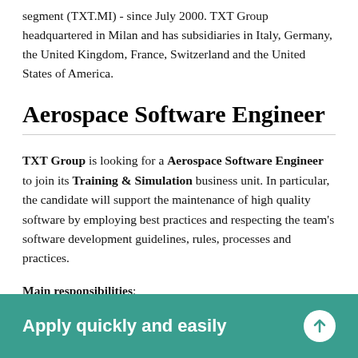segment (TXT.MI) - since July 2000. TXT Group headquartered in Milan and has subsidiaries in Italy, Germany, the United Kingdom, France, Switzerland and the United States of America.
Aerospace Software Engineer
TXT Group is looking for a Aerospace Software Engineer to join its Training & Simulation business unit. In particular, the candidate will support the maintenance of high quality software by employing best practices and respecting the team's software development guidelines, rules, processes and practices.
Main responsibilities:
Apply quickly and easily